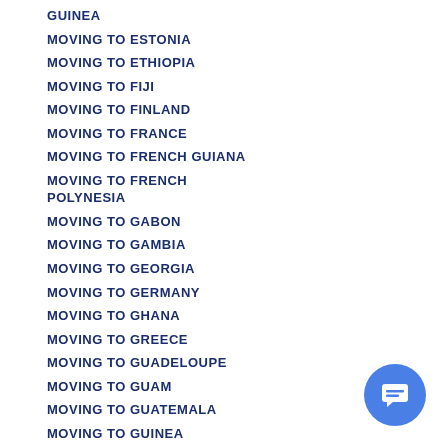GUINEA
MOVING TO ESTONIA
MOVING TO ETHIOPIA
MOVING TO FIJI
MOVING TO FINLAND
MOVING TO FRANCE
MOVING TO FRENCH GUIANA
MOVING TO FRENCH POLYNESIA
MOVING TO GABON
MOVING TO GAMBIA
MOVING TO GEORGIA
MOVING TO GERMANY
MOVING TO GHANA
MOVING TO GREECE
MOVING TO GUADELOUPE
MOVING TO GUAM
MOVING TO GUATEMALA
MOVING TO GUINEA